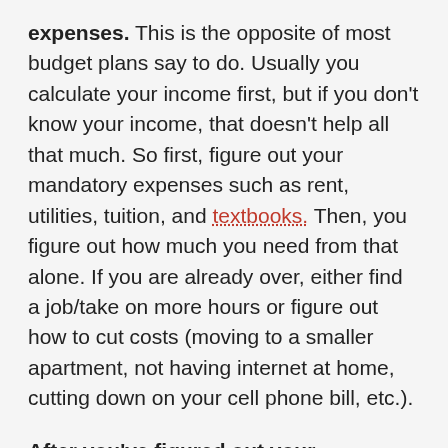expenses. This is the opposite of most budget plans say to do. Usually you calculate your income first, but if you don't know your income, that doesn't help all that much. So first, figure out your mandatory expenses such as rent, utilities, tuition, and textbooks. Then, you figure out how much you need from that alone. If you are already over, either find a job/take on more hours or figure out how to cut costs (moving to a smaller apartment, not having internet at home, cutting down on your cell phone bill, etc.).
After you've figured out your mandatory expenses, see what you have left over when you subtract that from your expected income and your savings/loan. Then, from that remaining amount, figure out how much you want to save as an emergency fund and what you can afford for spending money over the year. Make a list of any big purchases you think you'll need to make, and factor those